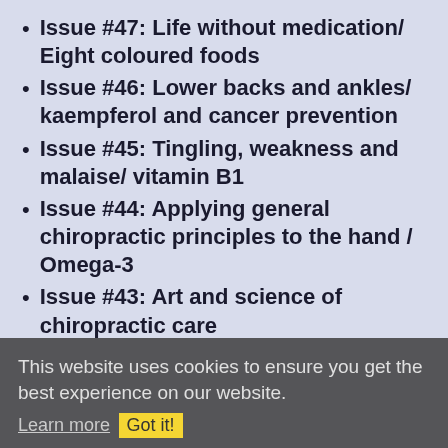Issue #47: Life without medication/ Eight coloured foods
Issue #46: Lower backs and ankles/ kaempferol and cancer prevention
Issue #45: Tingling, weakness and malaise/ vitamin B1
Issue #44: Applying general chiropractic principles to the hand / Omega-3
Issue #43: Art and science of chiropractic care
Issue #42: Tum sleeping / Flaxseed
Issue #41: Adult potty training / Beetroot constipation
Issue #40: Ominous lumbar signs / Too much medication?
Issue #39: Swapping chiropractors /
This website uses cookies to ensure you get the best experience on our website. Learn more Got it!